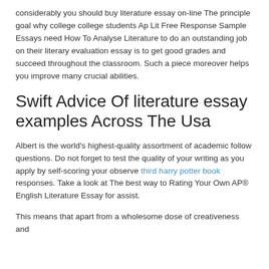considerably you should buy literature essay on-line The principle goal why college college students Ap Lit Free Response Sample Essays need How To Analyse Literature to do an outstanding job on their literary evaluation essay is to get good grades and succeed throughout the classroom. Such a piece moreover helps you improve many crucial abilities.
Swift Advice Of literature essay examples Across The Usa
Albert is the world's highest-quality assortment of academic follow questions. Do not forget to test the quality of your writing as you apply by self-scoring your observe third harry potter book responses. Take a look at The best way to Rating Your Own AP® English Literature Essay for assist.
This means that apart from a wholesome dose of creativeness and